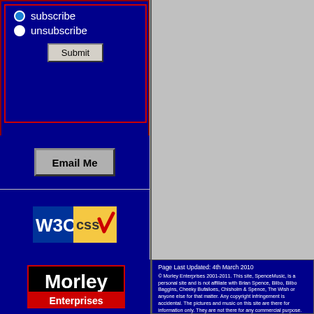[Figure (screenshot): Subscribe/unsubscribe form with radio buttons and Submit button on dark blue background with red border]
[Figure (screenshot): Email Me button on dark blue background]
[Figure (logo): W3C CSS validation badge]
[Figure (logo): Morley Enterprises logo - red and black text on red background]
Page Last Updated: 4th March 2010
© Morley Enterprises 2001-2011. This site, SpenceMusic, is a personal site and is not affiliate with Brian Spence, Bilbo, Bilbo Baggins, Cheeky Bufalloes, Chisholm & Spence, The Wish or anyone else for that matter. Any copyright infringement is accidental. The pictures and music on this site are there for information only. They are not there for any commercial purpose. Therefore, if anyone representing the artist(s) or record company(ies) want me to remove these items please mail me and I will remove them immediately! This site, SpenceMusic, and Morley Enterprises are not responsible for the content of any other websites that are linked from here. So there.